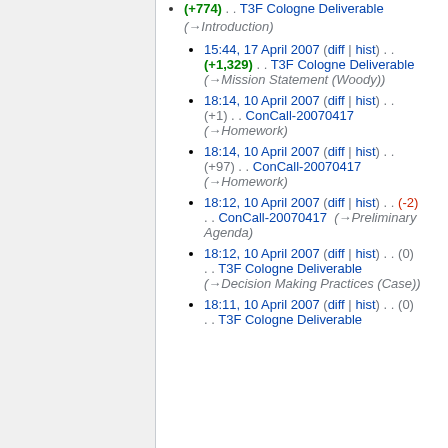(+774) . . T3F Cologne Deliverable (→Introduction)
15:44, 17 April 2007 (diff | hist) . . (+1,329) . . T3F Cologne Deliverable (→Mission Statement (Woody))
18:14, 10 April 2007 (diff | hist) . . (+1) . . ConCall-20070417 (→Homework)
18:14, 10 April 2007 (diff | hist) . . (+97) . . ConCall-20070417 (→Homework)
18:12, 10 April 2007 (diff | hist) . . (-2) . . ConCall-20070417 (→Preliminary Agenda)
18:12, 10 April 2007 (diff | hist) . . (0) . . T3F Cologne Deliverable (→Decision Making Practices (Case))
18:11, 10 April 2007 (diff | hist) . . (0) . . T3F Cologne Deliverable